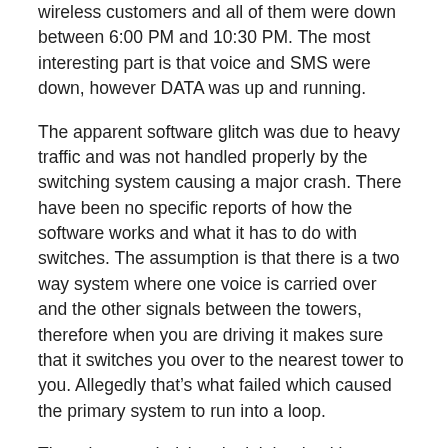wireless customers and all of them were down between 6:00 PM and 10:30 PM. The most interesting part is that voice and SMS were down, however DATA was up and running.
The apparent software glitch was due to heavy traffic and was not handled properly by the switching system causing a major crash. There have been no specific reports of how the software works and what it has to do with switches. The assumption is that there is a two way system where one voice is carried over and the other signals between the towers, therefore when you are driving it makes sure that it switches you over to the nearest tower to you. Allegedly that’s what failed which caused the primary system to run into a loop.
There is an underlying denial that hacking was involved taking down the system.